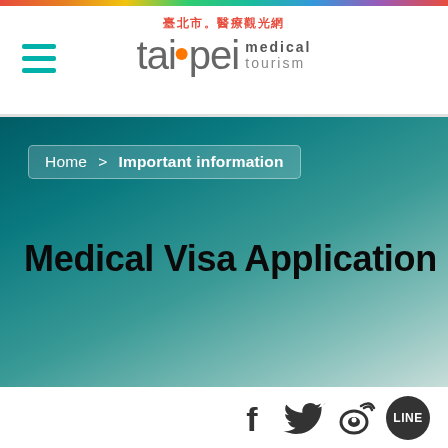[Figure (logo): Taipei Medical Tourism logo with Chinese characters 臺北市醫療觀光網, stylized 'taipei' text with orange dot, and 'medical tourism' subtitle]
Home > Important information
Medical Visa Application
[Figure (infographic): Social media icons: Facebook (f), Twitter bird, Weibo, and LINE]
Visitor Visa for Medical Treatment Purpose